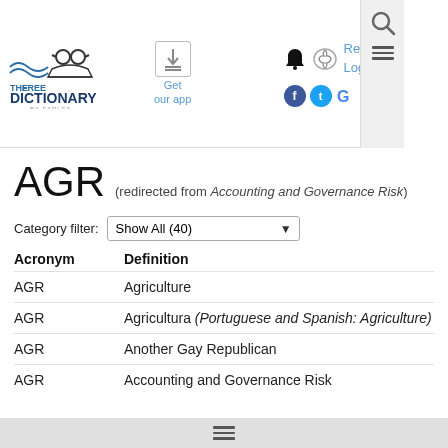The Free Dictionary by Farlex — Get our app — Register Log in
AGR (redirected from Accounting and Governance Risk)
Category filter: Show All (40)
| Acronym | Definition |
| --- | --- |
| AGR | Agriculture |
| AGR | Agricultura (Portuguese and Spanish: Agriculture) |
| AGR | Another Gay Republican |
| AGR | Accounting and Governance Risk |